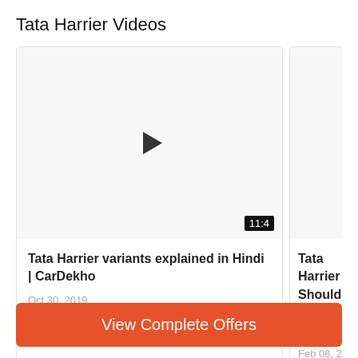Tata Harrier Videos
[Figure (screenshot): Video thumbnail card for 'Tata Harrier variants explained in Hindi | CarDekho' with a play button in the center and a duration badge '11:4' in the bottom right. Date shown: Oct 30, 2019.]
[Figure (screenshot): Partially visible second video card for 'Tata Harrier Should You ... Cardekho.c...' with date Feb 08, 2019.]
View Complete Offers